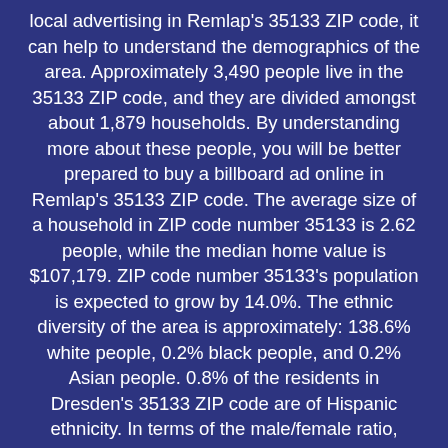local advertising in Remlap's 35133 ZIP code, it can help to understand the demographics of the area. Approximately 3,490 people live in the 35133 ZIP code, and they are divided amongst about 1,879 households. By understanding more about these people, you will be better prepared to buy a billboard ad online in Remlap's 35133 ZIP code. The average size of a household in ZIP code number 35133 is 2.62 people, while the median home value is $107,179. ZIP code number 35133's population is expected to grow by 14.0%. The ethnic diversity of the area is approximately: 138.6% white people, 0.2% black people, and 0.2% Asian people. 0.8% of the residents in Dresden's 35133 ZIP code are of Hispanic ethnicity. In terms of the male/female ratio, there is one female for every 1.0 males in the area. According to data from The U.S. Census, the 35133 ZIP code of Remlap, Alabama has 1 renter for every 8.21 homeowner(s). The average household income